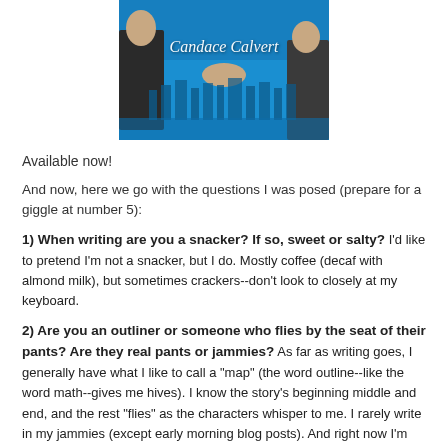[Figure (photo): Book cover image for Candace Calvert with blue sky and city skyline background, two people shaking hands]
Available now!
And now, here we go with the questions I was posed (prepare for a giggle at number 5):
1) When writing are you a snacker? If so, sweet or salty? I'd like to pretend I'm not a snacker, but I do. Mostly coffee (decaf with almond milk), but sometimes crackers--don't look to closely at my keyboard.
2) Are you an outliner or someone who flies by the seat of their pants? Are they real pants or jammies? As far as writing goes, I generally have what I like to call a "map" (the word outline--like the word math--gives me hives). I know the story's beginning middle and end, and the rest "flies" as the characters whisper to me. I rarely write in my jammies (except early morning blog posts). And right now I'm actually